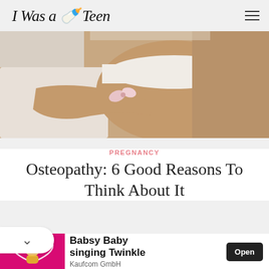I Was a Teen
[Figure (photo): Pregnant woman lying on side, wearing white, holding a small toy near her baby bump]
PREGNANCY
Osteopathy: 6 Good Reasons To Think About It
[Figure (infographic): Advertisement: Babsy Baby singing Twinkle - Kaufcom GmbH, with animated baby character on pink background and Open button]